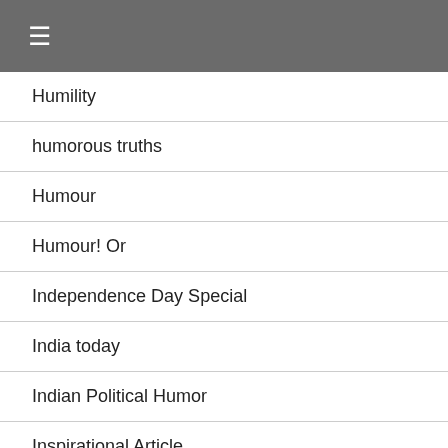☰
Humility
humorous truths
Humour
Humour! Or
Independence Day Special
India today
Indian Political Humor
Inspirational Article
Inspirational Story